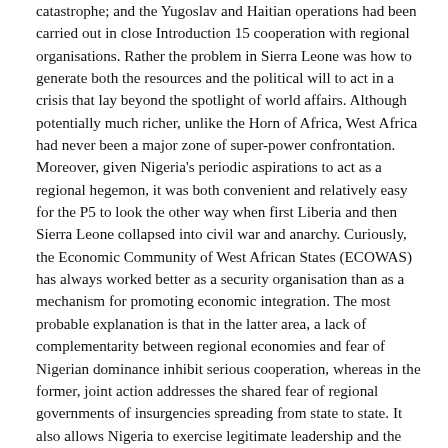catastrophe; and the Yugoslav and Haitian operations had been carried out in close Introduction 15 cooperation with regional organisations. Rather the problem in Sierra Leone was how to generate both the resources and the political will to act in a crisis that lay beyond the spotlight of world affairs. Although potentially much richer, unlike the Horn of Africa, West Africa had never been a major zone of super-power confrontation. Moreover, given Nigeria's periodic aspirations to act as a regional hegemon, it was both convenient and relatively easy for the P5 to look the other way when first Liberia and then Sierra Leone collapsed into civil war and anarchy. Curiously, the Economic Community of West African States (ECOWAS) has always worked better as a security organisation than as a mechanism for promoting economic integration. The most probable explanation is that in the latter area, a lack of complementarity between regional economies and fear of Nigerian dominance inhibit serious cooperation, whereas in the former, joint action addresses the shared fear of regional governments of insurgencies spreading from state to state. It also allows Nigeria to exercise legitimate leadership and the smaller states to protect their interests with its help. Nonetheless, by largely ignoring the humanitarian consequences of state collapse in Liberia and Sierra Leone, the Western members of the Security Council, and particularly Britain, found themselves caught in a contradiction. Following the drawing up of the Harare Declaration at